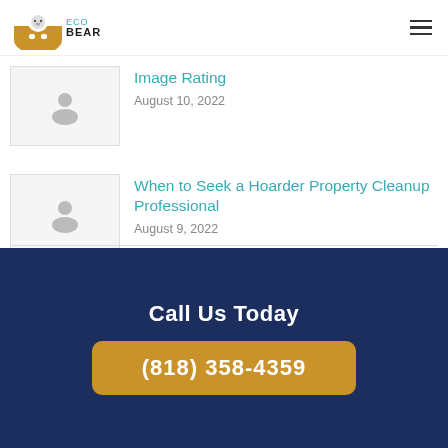ECOBEAR
Image Rating
August 10, 2022
When to Seek a Hoarder Property Cleanup Professional
August 9, 2022
Call Us Today
(818) 358-4359